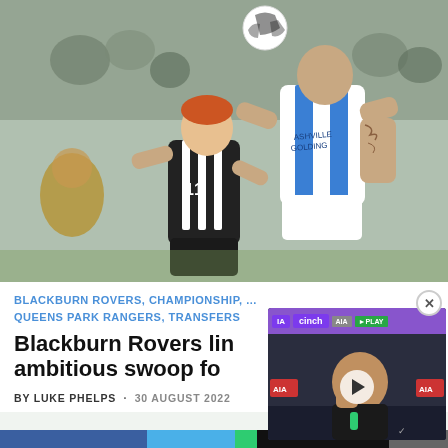[Figure (photo): Two football players competing for a header — one in black Fulham kit (number 11), one in blue and white QPR kit — during a Championship match. A football is visible at the top of the frame.]
BLACKBURN ROVERS, CHAMPIONSHIP, QUEENS PARK RANGERS, TRANSFERS
Blackburn Rovers lin ambitious swoop fo
BY LUKE PHELPS · 30 AUGUST 2022
[Figure (screenshot): Video overlay showing a press conference scene with a man in black seated at a table. Sponsor logos visible: cinch, AIA, EPLAY. A play button is shown in the center.]